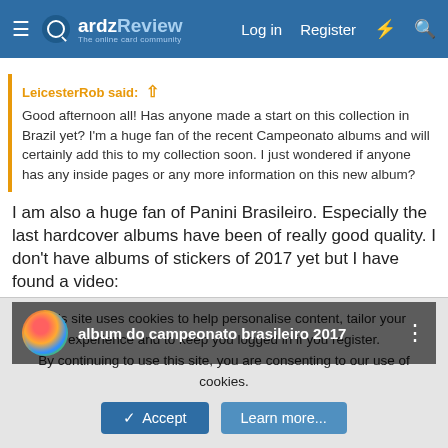CardzReview — Log in  Register
LeicesterRob said:
Good afternoon all! Has anyone made a start on this collection in Brazil yet? I'm a huge fan of the recent Campeonato albums and will certainly add this to my collection soon. I just wondered if anyone has any inside pages or any more information on this new album?
I am also a huge fan of Panini Brasileiro. Especially the last hardcover albums have been of really good quality. I don't have albums of stickers of 2017 yet but I have found a video:
[Figure (screenshot): YouTube video thumbnail showing 'album do campeonato brasileiro 2017' with dark background and partial album imagery]
This site uses cookies to help personalise content, tailor your experience and to keep you logged in if you register.
By continuing to use this site, you are consenting to our use of cookies.
Accept  Learn more...